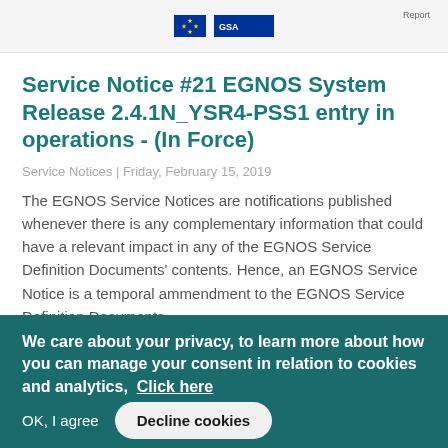[Figure (logo): EU flag and GSA logo at top of page with small 'Report' label on the right]
Service Notice #21 EGNOS System Release 2.4.1N_YSR4-PSS1 entry in operations - (In Force)
Service Notices | Friday, February 15, 2019
The EGNOS Service Notices are notifications published whenever there is any complementary information that could have a relevant impact in any of the EGNOS Service Definition Documents' contents. Hence, an EGNOS Service Notice is a temporal ammendment to the EGNOS Service Definition Documents
We care about your privacy, to learn more about how you can manage your consent in relation to cookies and analytics,  Click here
OK, I agree
Decline cookies